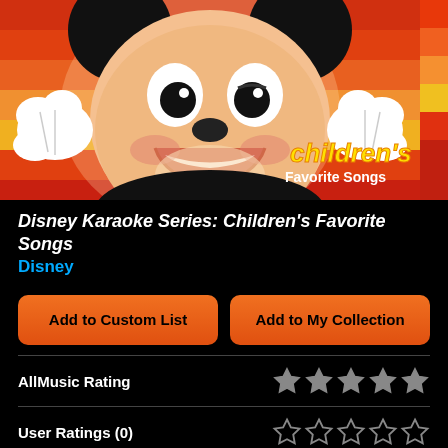[Figure (illustration): Album cover art for Disney Karaoke Series: Children's Favorite Songs. Features Mickey Mouse's smiling face with colorful horizontal striped background in red, orange, and yellow tones. Text reads 'children's Favorite Songs' in yellow and white lettering.]
Disney Karaoke Series: Children's Favorite Songs
Disney
Add to Custom List
Add to My Collection
AllMusic Rating
User Ratings (0)
Your Rating